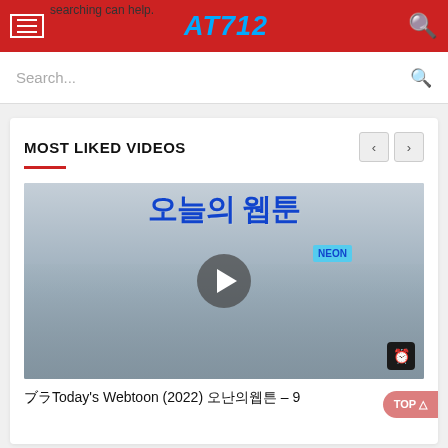AT712
searching can help.
Search...
MOST LIKED VIDEOS
[Figure (screenshot): Korean drama/webtoon promotional thumbnail showing a group of office workers with Korean text (오늘의 웹툰) in large blue letters, a woman standing in the center, and a NEON flag. A play button circle is overlaid in the center.]
오늘의Today's Webtoon (2022) 오늘의웹툰 – 9